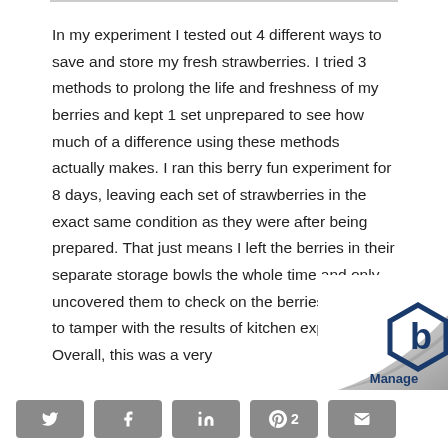In my experiment I tested out 4 different ways to save and store my fresh strawberries. I tried 3 methods to prolong the life and freshness of my berries and kept 1 set unprepared to see how much of a difference using these methods actually makes. I ran this berry fun experiment for 8 days, leaving each set of strawberries in the exact same condition as they were after being prepared. That just means I left the berries in their separate storage bowls the whole time and only uncovered them to check on the berries so as not to tamper with the results of kitchen experiment. Overall, this was a very
[Figure (logo): Page curl effect with Manage logo in bottom right corner]